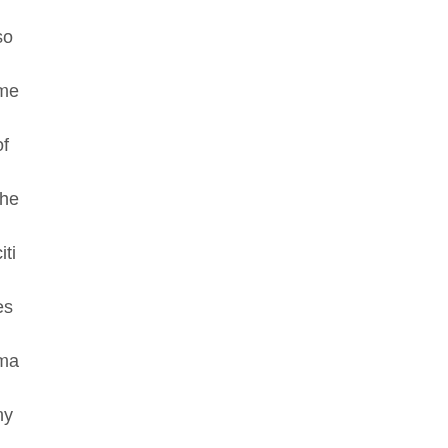so me of the citi es ma ny bri dg es. He re are a co upl e col or